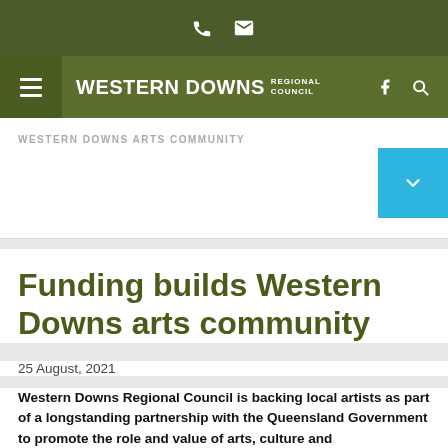Western Downs Regional Council website header with phone and email icons, navigation bar with hamburger menu, logo, Facebook and search icons
WESTERN DOWNS ARTS COMMUNITY
Funding builds Western Downs arts community
25 August, 2021
Western Downs Regional Council is backing local artists as part of a longstanding partnership with the Queensland Government to promote the role and value of arts, culture and